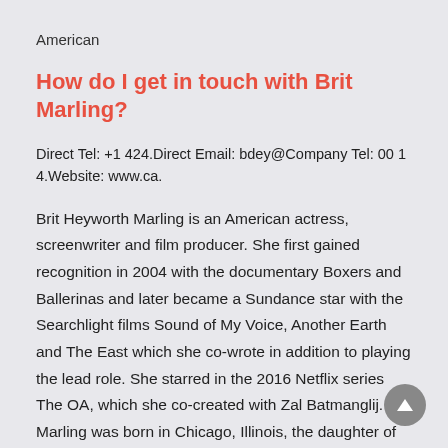American
How do I get in touch with Brit Marling?
Direct Tel: +1 424.Direct Email: bdey@Company Tel: 00 1 4.Website: www.ca.
Brit Heyworth Marling is an American actress, screenwriter and film producer. She first gained recognition in 2004 with the documentary Boxers and Ballerinas and later became a Sundance star with the Searchlight films Sound of My Voice, Another Earth and The East which she co-wrote in addition to playing the lead role. She starred in the 2016 Netflix series The OA, which she co-created with Zal Batmanglij. Marling was born in Chicago, Illinois, the daughter of property developer parents John and Heidi Marling. She was